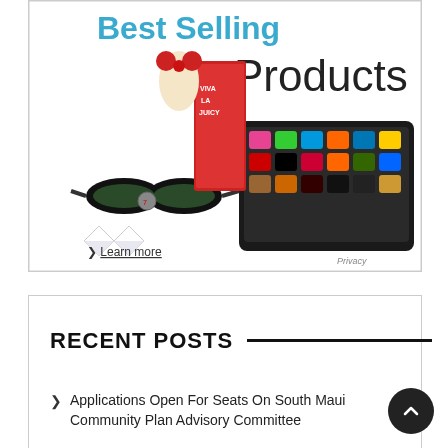[Figure (advertisement): Amazon Best Selling Products advertisement showing a tablet device with app icons, Ray-Ban sunglasses, Viva La Juicy perfume box, diamond earrings, and a 'Learn more' link. Privacy label in bottom right corner.]
RECENT POSTS
> Applications Open For Seats On South Maui Community Plan Advisory Committee